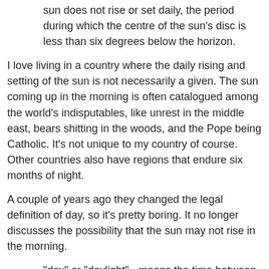sun does not rise or set daily, the period during which the centre of the sun's disc is less than six degrees below the horizon.
I love living in a country where the daily rising and setting of the sun is not necessarily a given. The sun coming up in the morning is often catalogued among the world's indisputables, like unrest in the middle east, bears shitting in the woods, and the Pope being Catholic. It's not unique to my country of course. Other countries also have regions that endure six months of night.
A couple of years ago they changed the legal definition of day, so it's pretty boring. It no longer discusses the possibility that the sun may not rise in the morning.
"day" or "daylight" - means the time between the beginning of morning civil twilight and the end of evening civil twilight.
But they can't change the fundamental nature of the country.
In far northern latitudes, when you consult the GPS page that is designed to display sunrise and sunset times, it